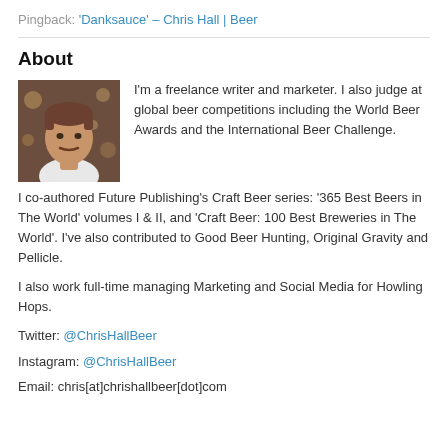Pingback: 'Danksauce' – Chris Hall | Beer
About
[Figure (photo): Portrait photo of a young man with short brown hair and a moustache, wearing a white t-shirt, with bokeh lights in the background.]
I'm a freelance writer and marketer. I also judge at global beer competitions including the World Beer Awards and the International Beer Challenge.
I co-authored Future Publishing's Craft Beer series: '365 Best Beers in The World' volumes I & II, and 'Craft Beer: 100 Best Breweries in The World'. I've also contributed to Good Beer Hunting, Original Gravity and Pellicle.
I also work full-time managing Marketing and Social Media for Howling Hops.
Twitter: @ChrisHallBeer
Instagram: @ChrisHallBeer
Email: chris[at]chrishallbeer[dot]com